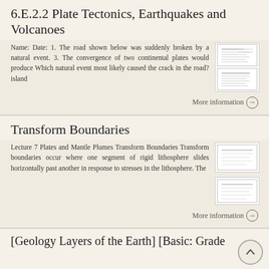6.E.2.2 Plate Tectonics, Earthquakes and Volcanoes
Name: Date: 1. The road shown below was suddenly broken by a natural event. 3. The convergence of two continental plates would produce Which natural event most likely caused the crack in the road? island
More information →
Transform Boundaries
Lecture 7 Plates and Mantle Plumes Transform Boundaries Transform boundaries occur where one segment of rigid lithosphere slides horizontally past another in response to stresses in the lithosphere. The
More information →
[Geology Layers of the Earth] [Basic: Grade